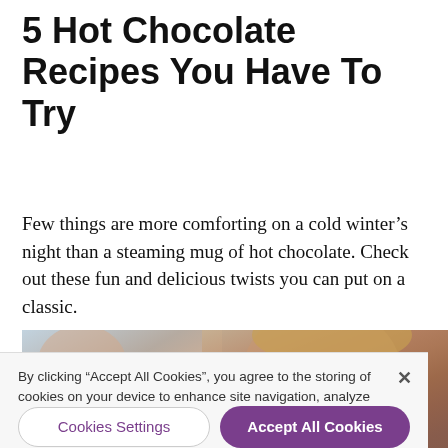5 Hot Chocolate Recipes You Have To Try
Few things are more comforting on a cold winter’s night than a steaming mug of hot chocolate. Check out these fun and delicious twists you can put on a classic.
[Figure (photo): Two children with eyes closed smelling or drinking from mugs of hot chocolate. One child on the left holds a red mug. Photo is partially obscured by a cookie consent banner overlay.]
By clicking “Accept All Cookies”, you agree to the storing of cookies on your device to enhance site navigation, analyze site usage, and assist in our marketing efforts.
Cookies Settings
Accept All Cookies